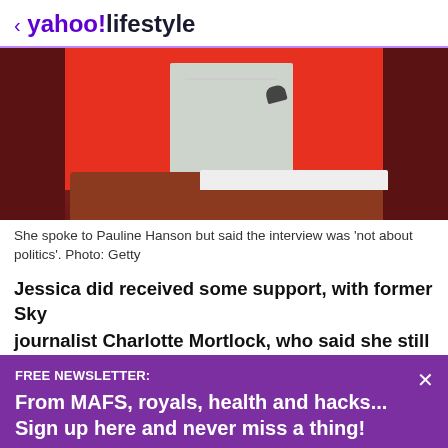< yahoo!lifestyle
[Figure (photo): Person in red jacket seated at a desk/podium, appearing to be in a formal setting like a parliament or hearing room]
She spoke to Pauline Hanson but said the interview was 'not about politics'. Photo: Getty
Jessica did received some support, with former Sky
FREE NEWSLETTER:
From MAFS, royals, health and hacks... Sign up here and never miss a thing!
View comments